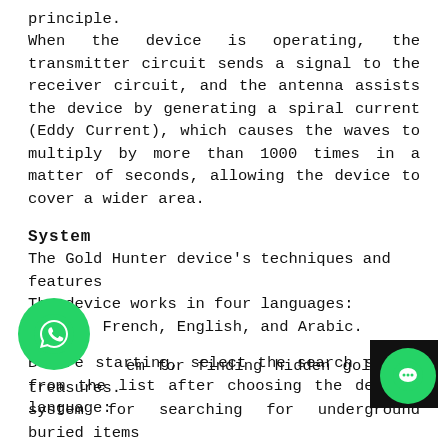principle. When the device is operating, the transmitter circuit sends a signal to the receiver circuit, and the antenna assists the device by generating a spiral current (Eddy Current), which causes the waves to multiply by more than 1000 times in a matter of seconds, allowing the device to cover a wider area.
System
The Gold Hunter device's techniques and features The device works in four languages: German, French, English, and Arabic.
Before starting, select the search system from the list after choosing the desired language:
em for finding hidden gold and treasures.
[Figure (other): WhatsApp floating button (green circle with phone icon)]
[Figure (other): Chat floating button (green circle with chat icon) over black background box]
system for searching for underground buried items